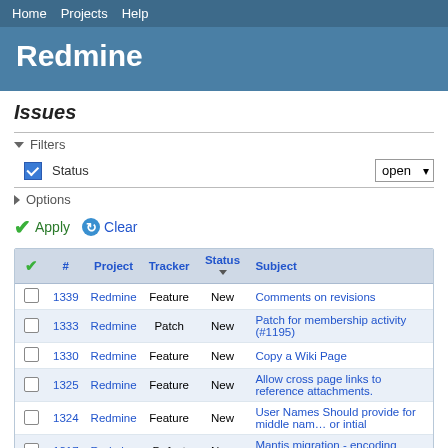Home  Projects  Help
Redmine
Issues
▾ Filters
Status   open
▶ Options
✔ Apply  🔄 Clear
| ✔ | # | Project | Tracker | Status ▾ | Subject |
| --- | --- | --- | --- | --- | --- |
| ☐ | 1339 | Redmine | Feature | New | Comments on revisions |
| ☐ | 1333 | Redmine | Patch | New | Patch for membership activity (#1195) |
| ☐ | 1330 | Redmine | Feature | New | Copy a Wiki Page |
| ☐ | 1325 | Redmine | Feature | New | Allow cross page links to reference attachments. |
| ☐ | 1324 | Redmine | Feature | New | User Names Should provide for middle name or intial |
| ☐ | 1317 | Redmine | Defect | New | Mantis migration - encoding mismatches |
| ☐ | 1311 | Redmine | Feature | New | Subversion: Show revision histories for branches |
| ☐ | 1309 | Redmine | Feature | New | svnauthz editing |
| ☐ | 1308 | Redmine | Feature | New | use ajax suggestion pattern to fill out sing... |